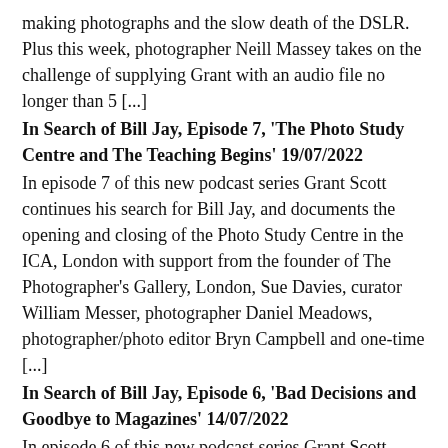making photographs and the slow death of the DSLR. Plus this week, photographer Neill Massey takes on the challenge of supplying Grant with an audio file no longer than 5 [...]
In Search of Bill Jay, Episode 7, 'The Photo Study Centre and The Teaching Begins' 19/07/2022
In episode 7 of this new podcast series Grant Scott continues his search for Bill Jay, and documents the opening and closing of the Photo Study Centre in the ICA, London with support from the founder of The Photographer's Gallery, London, Sue Davies, curator William Messer, photographer Daniel Meadows, photographer/photo editor Bryn Campbell and one-time [...]
In Search of Bill Jay, Episode 6, 'Bad Decisions and Goodbye to Magazines' 14/07/2022
In episode 6 of this new podcast series Grant Scott continues his search for Bill Jay and documents the end of Album magazine and Bill's move to the ICA with